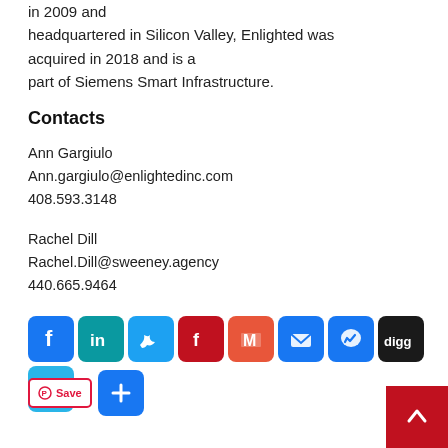in 2009 and headquartered in Silicon Valley, Enlighted was acquired in 2018 and is a part of Siemens Smart Infrastructure.
Contacts
Ann Gargiulo
Ann.gargiulo@enlightedinc.com
408.593.3148
Rachel Dill
Rachel.Dill@sweeney.agency
440.665.9464
[Figure (other): Row of social media share buttons: Facebook, LinkedIn, Twitter, Flipboard, Gmail, Email, Messenger, Digg, Telegram, plus a Save (Pinterest) button and a blue plus/share button, and a red scroll-to-top arrow button.]